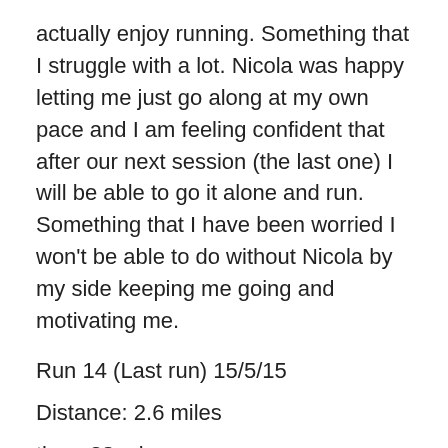actually enjoy running. Something that I struggle with a lot. Nicola was happy letting me just go along at my own pace and I am feeling confident that after our next session (the last one) I will be able to go it alone and run. Something that I have been worried I won't be able to do without Nicola by my side keeping me going and motivating me.
Run 14 (Last run) 15/5/15
Distance: 2.6 miles
time: 38 min
Average min/mile: 14.43
Last run with Nicola, I'm quite sad that it's come to an end but determined to keep it up now I have the running knowledge thanks to a tough 8 weeks of running. When I